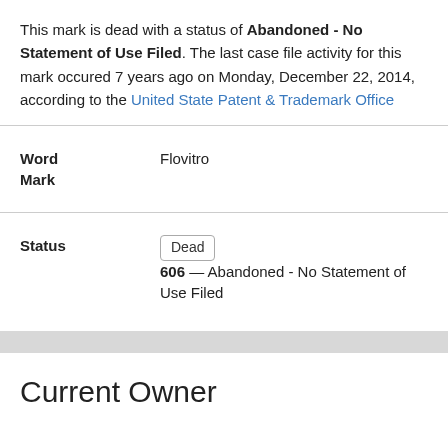This mark is dead with a status of Abandoned - No Statement of Use Filed. The last case file activity for this mark occured 7 years ago on Monday, December 22, 2014, according to the United State Patent & Trademark Office
| Field | Value |
| --- | --- |
| Word Mark | Flovitro |
| Status | Dead 606 — Abandoned - No Statement of Use Filed |
Current Owner